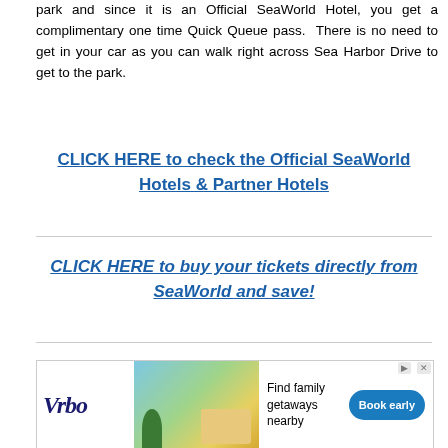park and since it is an Official SeaWorld Hotel, you get a complimentary one time Quick Queue pass. There is no need to get in your car as you can walk right across Sea Harbor Drive to get to the park.
CLICK HERE to check the Official SeaWorld Hotels & Partner Hotels
CLICK HERE to buy your tickets directly from SeaWorld and save!
[Figure (infographic): Vrbo advertisement banner: Vrbo logo on left, vacation beach house image in center, 'Find family getaways nearby' text, and 'Book early' blue button on right.]